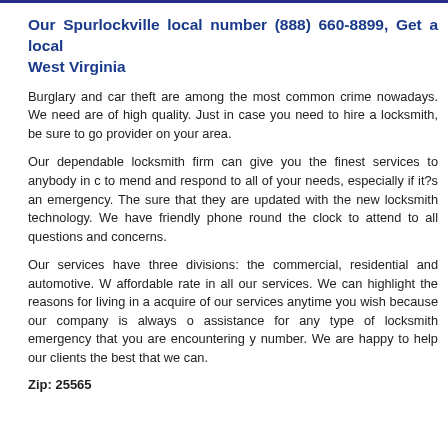Our Spurlockville local number (888) 660-8899, Get a local West Virginia
Burglary and car theft are among the most common crime nowadays. We need are of high quality. Just in case you need to hire a locksmith, be sure to go provider on your area.
Our dependable locksmith firm can give you the finest services to anybody in c to mend and respond to all of your needs, especially if it?s an emergency. The sure that they are updated with the new locksmith technology. We have friendly phone round the clock to attend to all questions and concerns.
Our services have three divisions: the commercial, residential and automotive. W affordable rate in all our services. We can highlight the reasons for living in a acquire of our services anytime you wish because our company is always o assistance for any type of locksmith emergency that you are encountering y number. We are happy to help our clients the best that we can.
Zip: 25565